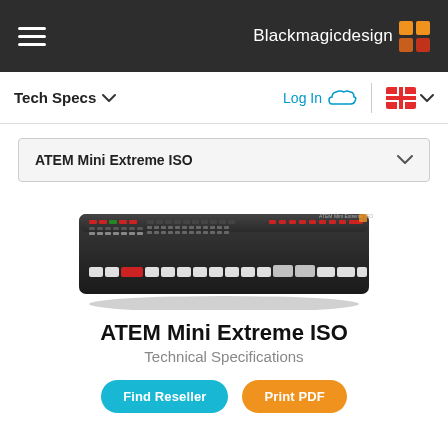Blackmagicdesign
Tech Specs
Log In
ATEM Mini Extreme ISO
[Figure (photo): ATEM Mini Extreme ISO hardware unit — a wide black video switcher/mixer with multiple button rows including red and green buttons, shown in a perspective view from slightly above.]
ATEM Mini Extreme ISO
Technical Specifications
Find Reseller   Print PDF